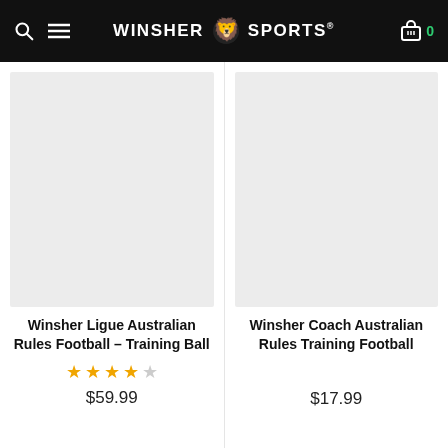WINSHER SPORTS
[Figure (photo): Product image placeholder for Winsher Ligue Australian Rules Football – Training Ball (light gray background)]
Winsher Ligue Australian Rules Football – Training Ball
★★★★☆
$59.99
[Figure (photo): Product image placeholder for Winsher Coach Australian Rules Training Football (light gray background)]
Winsher Coach Australian Rules Training Football
$17.99